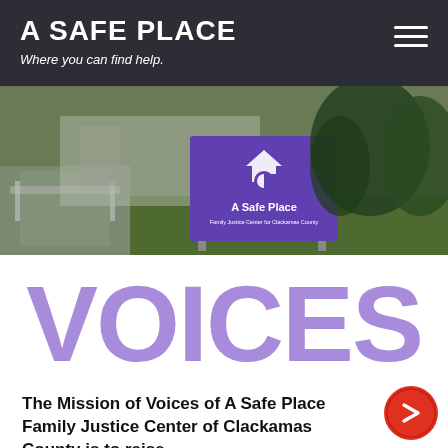A SAFE PLACE
Where you can find help.
[Figure (photo): Outdoor photo of 'A Safe Place Family Justice Center for Clackamas County' sign mounted on poles, with a building ramp and green trees/shrubs visible in the background.]
VOICES
The Mission of Voices of A Safe Place Family Justice Center of Clackamas County is to raise